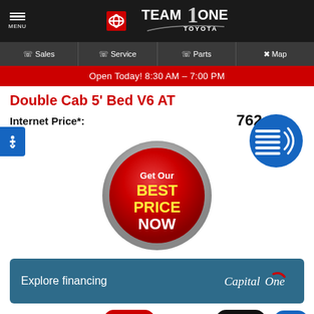MENU | Team One Toyota
Sales | Service | Parts | Map
Open Today! 8:30 AM – 7:00 PM
Double Cab 5' Bed V6 AT
Internet Price*:    762
[Figure (illustration): Red 'Get Our BEST PRICE NOW' button with metallic silver ring, centered on page]
[Figure (illustration): Blue circle with speaker/audio icon on right side]
Explore financing
[Figure (logo): Capital One logo in white on teal background]
This site uses coo
CHAT
TEXT